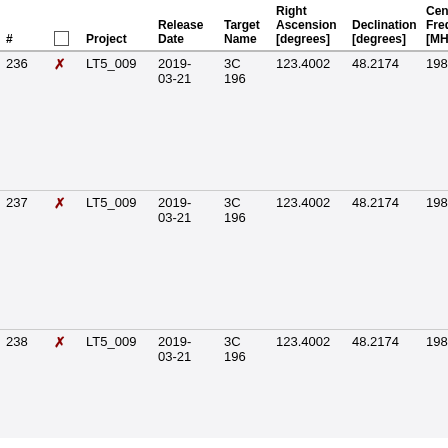| # |  | Project | Release Date | Target Name | Right Ascension [degrees] | Declination [degrees] | Central Frequency [MHz] | Ch Wi |
| --- | --- | --- | --- | --- | --- | --- | --- | --- |
| 236 | ✗ | LT5_009 | 2019-03-21 | 3C 196 | 123.4002 | 48.2174 | 198.5938 | 122 |
| 237 | ✗ | LT5_009 | 2019-03-21 | 3C 196 | 123.4002 | 48.2174 | 198.7500 | 122 |
| 238 | ✗ | LT5_009 | 2019-03-21 | 3C 196 | 123.4002 | 48.2174 | 198.9062 | 122 |